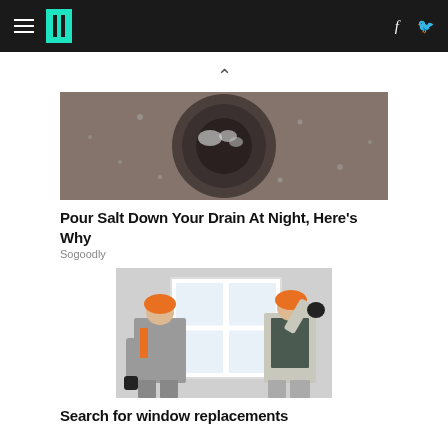HuffPost navigation with hamburger menu, logo, Facebook and Twitter icons
[Figure (photo): Close-up photo of a circular metal drain with water droplets and bubbles around it on a wet surface]
Pour Salt Down Your Drain At Night, Here's Why
Sogoodly
[Figure (photo): Two construction workers in orange hard hats and grey work uniforms installing or handling a large white window frame]
Search for window replacements